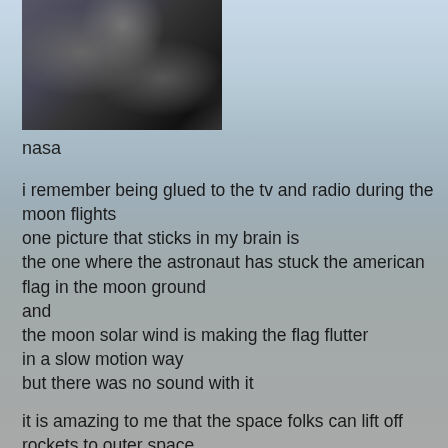[Figure (photo): NASA photograph showing lunar surface with dark rocky terrain]
nasa
i remember being glued to the tv and radio during the moon flights
one picture that sticks in my brain is
the one where the astronaut has stuck the american flag in the moon ground
and
the moon solar wind is making the flag flutter
in a slow motion way
but there was no sound with it
it is amazing to me that the space folks can lift off rockets to outer space
then land parts of it back on earth
onto a small area like a barge
like in a space movie
that happened last week when we were walking above the